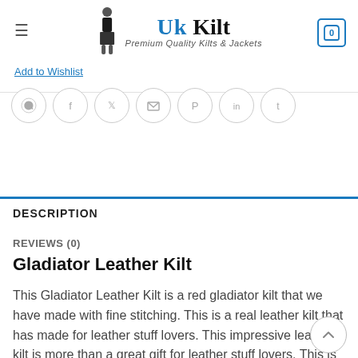UK Kilt — Premium Quality Kilts & Jackets
Add to Wishlist
[Figure (illustration): Row of circular social media share icons: WhatsApp, Facebook, Twitter, Email, Pinterest, LinkedIn, Tumblr]
DESCRIPTION
REVIEWS (0)
Gladiator Leather Kilt
This Gladiator Leather Kilt is a red gladiator kilt that we have made with fine stitching. This is a real leather kilt that has made for leather stuff lovers. This impressive leather kilt is more than a great gift for leather stuff lovers. This is a popular kilt that has huge selling demand throughout the